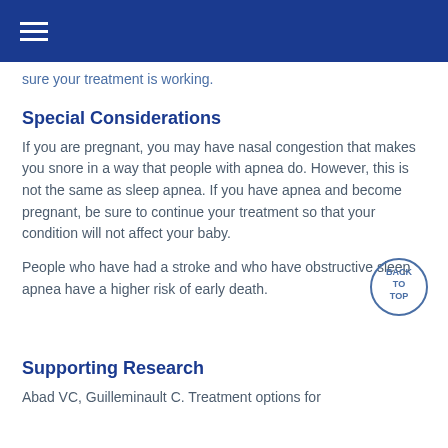sure your treatment is working.
Special Considerations
If you are pregnant, you may have nasal congestion that makes you snore in a way that people with apnea do. However, this is not the same as sleep apnea. If you have apnea and become pregnant, be sure to continue your treatment so that your condition will not affect your baby.
People who have had a stroke and who have obstructive sleep apnea have a higher risk of early death.
Supporting Research
Abad VC, Guilleminault C. Treatment options for